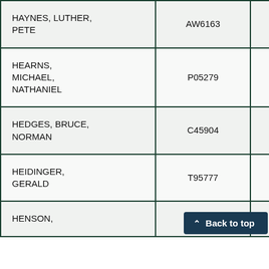| Name | ID | Status | Location |
| --- | --- | --- | --- |
| HAYNES, LUTHER, PETE | AW6163 | No | Orang… |
| HEARNS, MICHAEL, NATHANIEL | P05279 | No | Los A… |
| HEDGES, BRUCE, NORMAN | C45904 | No | San J… |
| HEIDINGER, GERALD | T95777 | No | Mont… |
| HENSON, |  |  |  |